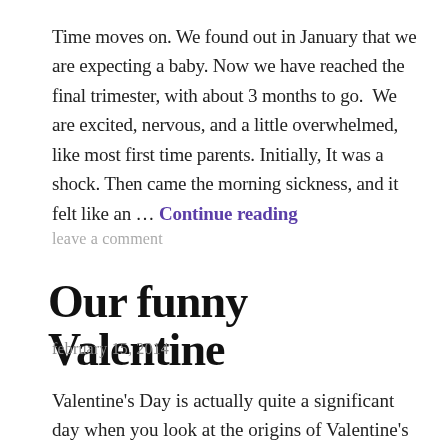Time moves on. We found out in January that we are expecting a baby. Now we have reached the final trimester, with about 3 months to go. We are excited, nervous, and a little overwhelmed, like most first time parents. Initially, It was a shock. Then came the morning sickness, and it felt like an … Continue reading
leave a comment
Our funny Valentine
february 15, 2014
Valentine's Day is actually quite a significant day when you look at the origins of Valentine's day. While it is unclear exactly who St Valentine was- some say he was a